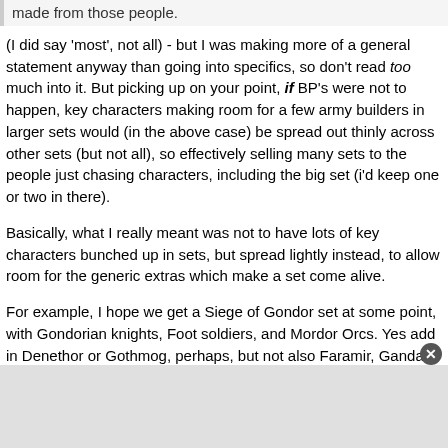made from those people.
(I did say 'most', not all) - but I was making more of a general statement anyway than going into specifics, so don't read too much into it. But picking up on your point, if BP's were not to happen, key characters making room for a few army builders in larger sets would (in the above case) be spread out thinly across other sets (but not all), so effectively selling many sets to the people just chasing characters, including the big set (i'd keep one or two in there).
Basically, what I really meant was not to have lots of key characters bunched up in sets, but spread lightly instead, to allow room for the generic extras which make a set come alive.
For example, I hope we get a Siege of Gondor set at some point, with Gondorian knights, Foot soldiers, and Mordor Orcs. Yes add in Denethor or Gothmog, perhaps, but not also Faramir, Gandalf, Aragorn etc to the point that we have no soldiers to actually do battle with. Characters are strong enough to carry their own featured set from any number of film scenes, whereas the extras who make the scenes grand and epic are really only...